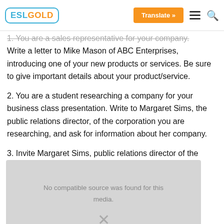ESL GOLD | Translate » ☰ 🔍
1. You are a sales representative for your company. Write a letter to Mike Mason of ABC Enterprises, introducing one of your new products or services. Be sure to give important details about your product/service.
2. You are a student researching a company for your business class presentation. Write to Margaret Sims, the public relations director, of the corporation you are researching, and ask for information about her company.
3. Invite Margaret Sims, public relations director of the
[Figure (screenshot): Video player error overlay showing 'No compatible source was found for this media.' with an X close button, displayed over a gray background]